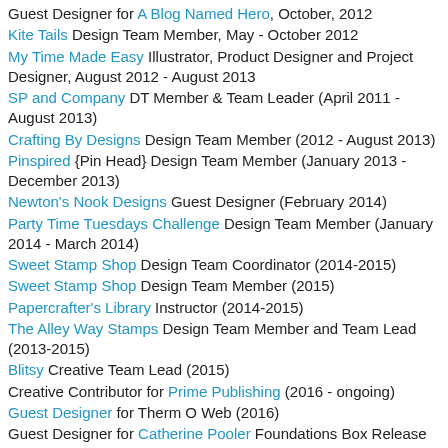Guest Designer for A Blog Named Hero, October, 2012
Kite Tails Design Team Member, May - October 2012
My Time Made Easy Illustrator, Product Designer and Project Designer, August 2012 - August 2013
SP and Company DT Member & Team Leader (April 2011 - August 2013)
Crafting By Designs Design Team Member (2012 - August 2013)
Pinspired {Pin Head} Design Team Member (January 2013 - December 2013)
Newton's Nook Designs Guest Designer (February 2014)
Party Time Tuesdays Challenge Design Team Member (January 2014 - March 2014)
Sweet Stamp Shop Design Team Coordinator (2014-2015)
Sweet Stamp Shop Design Team Member (2015)
Papercrafter's Library Instructor (2014-2015)
The Alley Way Stamps Design Team Member and Team Lead (2013-2015)
Blitsy Creative Team Lead (2015)
Creative Contributor for Prime Publishing (2016 - ongoing)
Guest Designer for Therm O Web (2016)
Guest Designer for Catherine Pooler Foundations Box Release and January Release (2016)